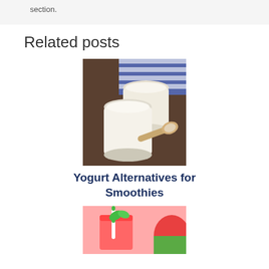section.
Related posts
[Figure (photo): Two glass jars of yogurt with a wooden spoon on a dark wooden surface, blue striped cloth in background]
Yogurt Alternatives for Smoothies
[Figure (photo): Red watermelon smoothie in glass with green striped straw and mint leaves, watermelon slices in background]